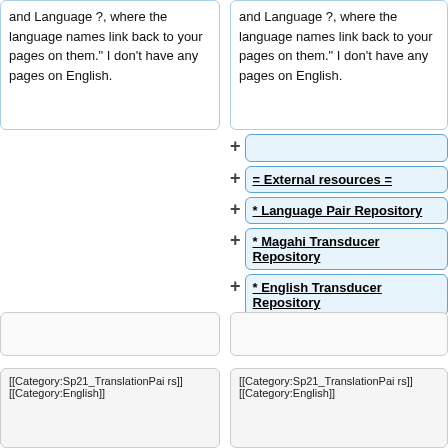and Language ? , where the language names link back to your pages on them." I don't have any pages on English.
and Language ? , where the language names link back to your pages on them." I don't have any pages on English.
= External resources =
* Language Pair Repository
* Magahi Transducer Repository
* English Transducer Repository
* Corpus Repository
[[Category:Sp21_TranslationPairs]][[Category:English]]
[[Category:Sp21_TranslationPairs]][[Category:English]]